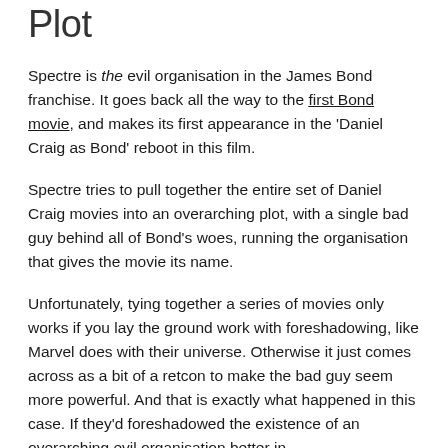Plot
Spectre is the evil organisation in the James Bond franchise. It goes back all the way to the first Bond movie, and makes its first appearance in the 'Daniel Craig as Bond' reboot in this film.
Spectre tries to pull together the entire set of Daniel Craig movies into an overarching plot, with a single bad guy behind all of Bond's woes, running the organisation that gives the movie its name.
Unfortunately, tying together a series of movies only works if you lay the ground work with foreshadowing, like Marvel does with their universe. Otherwise it just comes across as a bit of a retcon to make the bad guy seem more powerful. And that is exactly what happened in this case. If they'd foreshadowed the existence of an overarching evil organisation better in